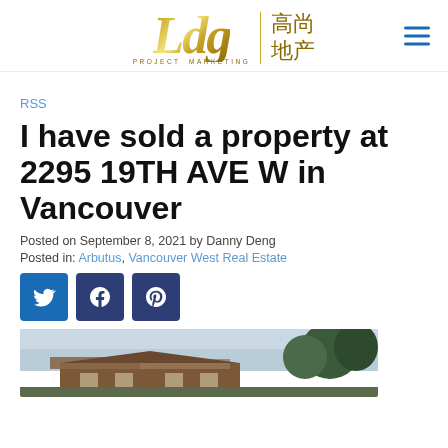[Figure (logo): LDG Project Marketing logo with Chinese characters 高尚地产 and hamburger menu icon]
RSS
I have sold a property at 2295 19TH AVE W in Vancouver
Posted on September 8, 2021 by Danny Deng
Posted in: Arbutus, Vancouver West Real Estate
[Figure (infographic): Social share icons: Twitter, Facebook, Pinterest]
[Figure (photo): Exterior photo of property at 2295 19TH AVE W, Vancouver — a house with trees in background under overcast sky]